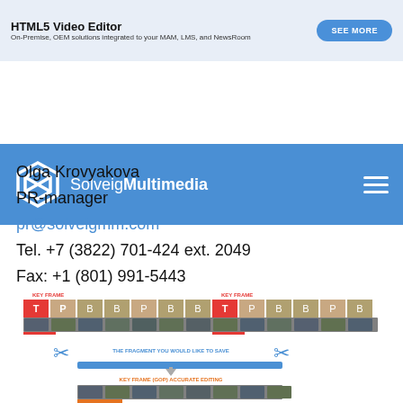[Figure (screenshot): HTML5 Video Editor banner ad with blue button 'SEE MORE'. Text: 'HTML5 Video Editor' bold, 'On-Premise, OEM solutions integrated to your MAM, LMS, and NewsRoom']
[Figure (logo): SolveigMultimedia logo and navigation bar with blue background, white hexagonal logo icon, text 'SolveigMultimedia', and hamburger menu icon on right]
Olga Krovyakova
PR-manager
pr@solveigmm.com
Tel. +7 (3822) 701-424 ext. 2049
Fax: +1 (801) 991-5443
[Figure (screenshot): Video editing timeline diagram showing key frames labeled T, P, B, R with thumbnail frames, scissors cut icons in blue, a blue highlighted fragment bar labeled 'THE FRAGMENT YOU WOULD LIKE TO SAVE', an arrow pointing down to 'KEY FRAME (GOP) ACCURATE EDITING', and a second row of thumbnail frames at bottom]